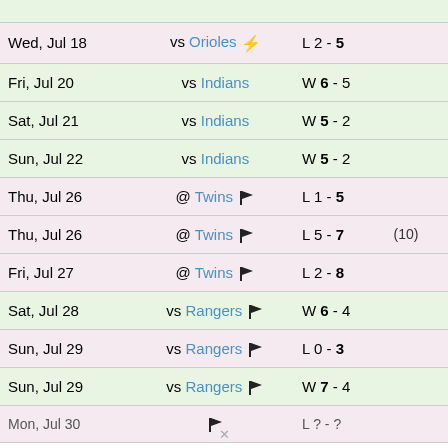| Date | Opponent | Result | Extra |
| --- | --- | --- | --- |
| Wed, Jul 18 | vs Orioles ⚡ | L 2 - 5 |  |
| Fri, Jul 20 | vs Indians | W 6 - 5 |  |
| Sat, Jul 21 | vs Indians | W 5 - 2 |  |
| Sun, Jul 22 | vs Indians | W 5 - 2 |  |
| Thu, Jul 26 | @ Twins 🏴 | L 1 - 5 |  |
| Thu, Jul 26 | @ Twins 🏴 | L 5 - 7 | (10) |
| Fri, Jul 27 | @ Twins 🏴 | L 2 - 8 |  |
| Sat, Jul 28 | vs Rangers 🏴 | W 6 - 4 |  |
| Sun, Jul 29 | vs Rangers 🏴 | L 0 - 3 |  |
| Sun, Jul 29 | vs Rangers 🏴 | W 7 - 4 |  |
| Mon, Jul 30 | Rangers 🏴 | L ? - ? |  |